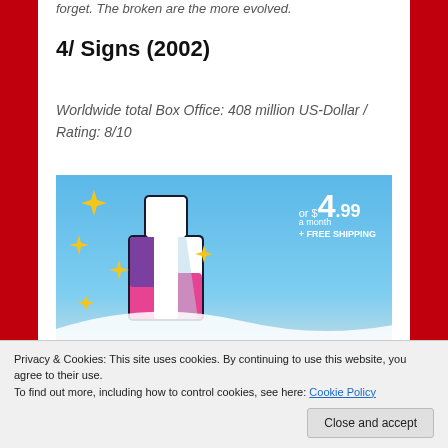forget. The broken are the more evolved.
4/ Signs (2002)
Worldwide total Box Office: 408 million US-Dollar / Rating: 8/10
[Figure (advertisement): Tumblr Ad-Free Browsing advertisement with Tumblr logo, sparkles, price 'or $4.99 a month + FREE SHIPPING', and text 'TUMBLR AD-FREE BROWSING']
Privacy & Cookies: This site uses cookies. By continuing to use this website, you agree to their use.
To find out more, including how to control cookies, see here: Cookie Policy